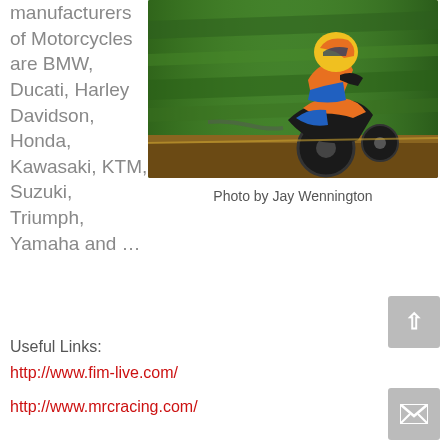manufacturers of Motorcycles are BMW, Ducati, Harley Davidson, Honda, Kawasaki, KTM, Suzuki, Triumph, Yamaha and …
[Figure (photo): Motorcycle racer in orange and blue gear on a dirt track, racing at speed, blurred green background]
Photo by Jay Wennington
Useful Links:
http://www.fim-live.com/
http://www.mrcracing.com/